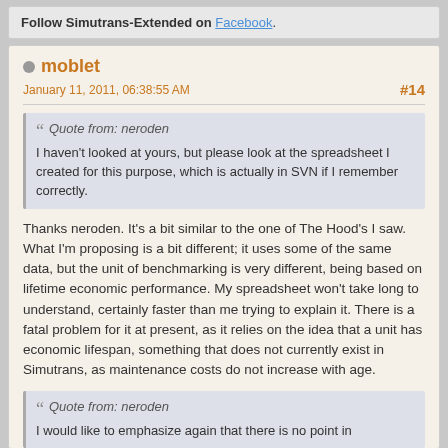Follow Simutrans-Extended on Facebook.
moblet
January 11, 2011, 06:38:55 AM
#14
Quote from: neroden
I haven't looked at yours, but please look at the spreadsheet I created for this purpose, which is actually in SVN if I remember correctly.
Thanks neroden. It's a bit similar to the one of The Hood's I saw. What I'm proposing is a bit different; it uses some of the same data, but the unit of benchmarking is very different, being based on lifetime economic performance. My spreadsheet won't take long to understand, certainly faster than me trying to explain it. There is a fatal problem for it at present, as it relies on the idea that a unit has economic lifespan, something that does not currently exist in Simutrans, as maintenance costs do not increase with age.
Quote from: neroden
I would like to emphasize again that there is no point in